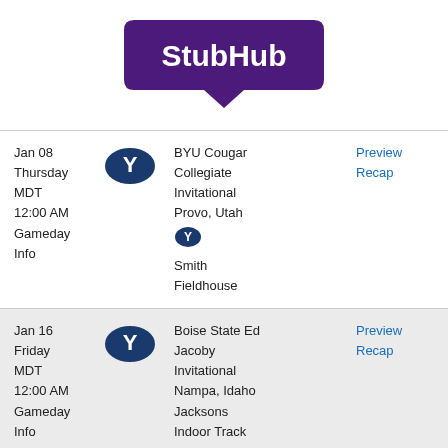[Figure (logo): StubHub logo — white text on dark purple speech-bubble background]
| Date | Logo | Event | Links |
| --- | --- | --- | --- |
| Jan 08
Thursday
MDT
12:00 AM
Gameday
Info | BYU Y logo | BYU Cougar Collegiate Invitational
Provo, Utah
[Y logo]
Smith Fieldhouse | Preview
Recap |
| Jan 16
Friday
MDT
12:00 AM
Gameday
Info | BYU Y logo | Boise State Ed Jacoby Invitational
Nampa, Idaho
Jacksons Indoor Track | Preview
Recap |
| Jan 22
Thursday | BYU Y logo | Air Force Invitational | 3rd
Preview |